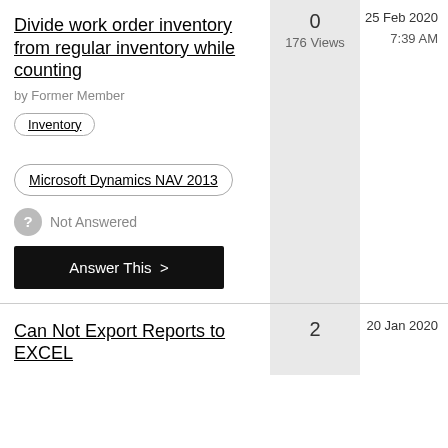Divide work order inventory from regular inventory while counting
by Former Member
Inventory
Microsoft Dynamics NAV 2013
Not Answered
Answer This >
0
176 Views
25 Feb 2020
7:39 AM
Can Not Export Reports to EXCEL
2
20 Jan 2020